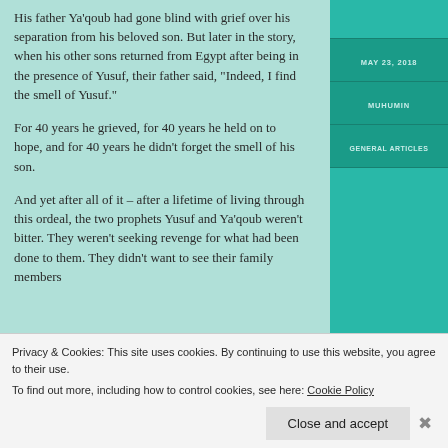His father Ya'qoub had gone blind with grief over his separation from his beloved son. But later in the story, when his other sons returned from Egypt after being in the presence of Yusuf, their father said, "Indeed, I find the smell of Yusuf."
For 40 years he grieved, for 40 years he held on to hope, and for 40 years he didn't forget the smell of his son.
And yet after all of it – after a lifetime of living through this ordeal, the two prophets Yusuf and Ya'qoub weren't bitter. They weren't seeking revenge for what had been done to them. They didn't want to see their family members...
MAY 23, 2018
MUHUMIN
GENERAL ARTICLES
Privacy & Cookies: This site uses cookies. By continuing to use this website, you agree to their use. To find out more, including how to control cookies, see here: Cookie Policy